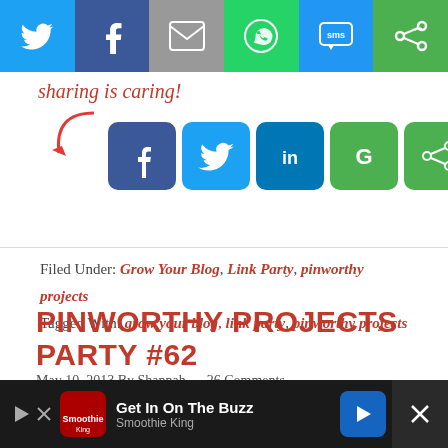[Figure (screenshot): Top social sharing bar with icons for Twitter, Facebook, Email, WhatsApp, SMS, and Share on colored backgrounds]
[Figure (screenshot): Sharing is caring text in cursive with a red arrow pointing to social share buttons: Facebook, Twitter, LinkedIn, Google+, Share]
Filed Under: Grow Your Blog, Link Party, pinworthy projects
Tagged With: grow your blog, link party, pinworthy projects
PINWORTHY PROJECTS PARTY #62
May 10, 2013 By Shannah — 26 Comments
Happy Friday everyone! Are you ready to share your latest creation? I hope so because I love seeing new crafts, recipes and do it yourself pinworthy projects linked each and every week!
[Figure (screenshot): Ad banner for Smoothie King - Get In On The Buzz]